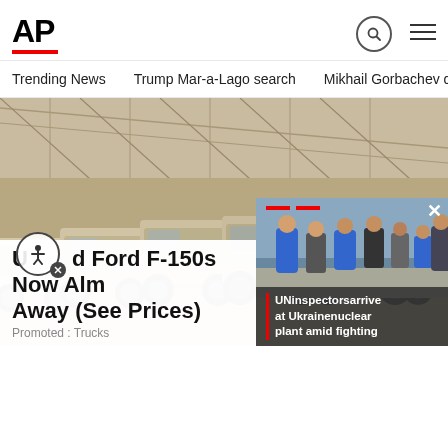[Figure (logo): AP (Associated Press) logo in bold black letters with red underline bar]
Trending News   Trump Mar-a-Lago search   Mikhail Gorbachev d
[Figure (photo): Row of dusty/sandy Ford F-150 and similar pickup trucks lined up inside a large industrial warehouse with metal roof trusses]
Used Ford F-150s Now Almost Being Given Away (See Prices)
Promoted : Trucks
[Figure (photo): UN inspectors in blue vests arriving at Ukraine nuclear plant, small popup overlay on bottom right of main image]
UNinspectorsarrive at Ukrainenuclear plant amid fighting